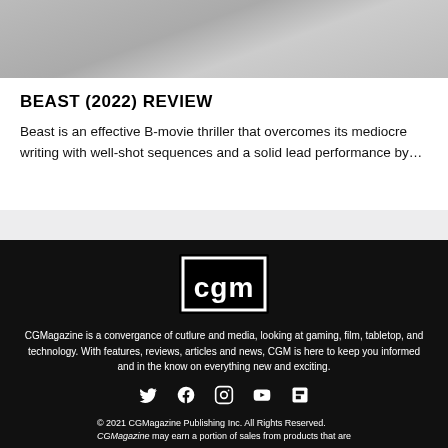[Figure (photo): Partial movie still image, dark/gray toned, cropped at top]
BEAST (2022) REVIEW
Beast is an effective B-movie thriller that overcomes its mediocre writing with well-shot sequences and a solid lead performance by…
[Figure (logo): CGM logo — white bold lowercase 'cgm' in a black rectangle with white border]
CGMagazine is a convergance of cutlure and media, looking at gaming, film, tabletop, and technology. With features, reviews, articles and news, CGM is here to keep you informed and in the know on everything new and exciting.
[Figure (other): Social media icons: Twitter, Facebook, Instagram, YouTube, Flipboard]
© 2021 CGMagazine Publishing Inc. All Rights Reserved. CGMagazine may earn a portion of sales from products that are